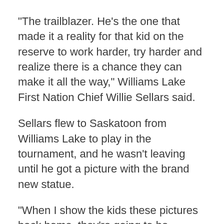"The trailblazer. He's the one that made it a reality for that kid on the reserve to work harder, try harder and realize there is a chance they can make it all the way," Williams Lake First Nation Chief Willie Sellars said.
Sellars flew to Saskatoon from Williams Lake to play in the tournament, and he wasn't leaving until he got a picture with the brand new statue.
“When I show the kids these pictures back home, they’re going to be pumped and hopefully inspired to work harder, try harder and hopefully be here one day,” he said.
Neil called these moments with players and fans in town for the tournament “bittersweet.” He brought the experience of a more intimate setting...